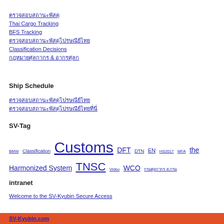ตรวจสอบสถานะพัสดุ
Thai Cargo Tracking
BFS Tracking
ตรวจสอบสถานะพัสดุไปรษณีย์ไทย
Classification Decisions
กฎหมายศุลกากร & อากรศุลก
Ship Schedule
ตรวจสอบสถานะพัสดุไปรษณีย์ไทย
ตรวจสอบสถานะพัสดุไปรษณีย์ไทยที่นี่
SV-Tag
[Figure (other): Tag cloud with links: BMW, Classification, Customs (large), DFT, DTN, EN, HS2017, MFA, the Harmonized System, TNSC, Video, WCO, กรมศุลกากร]
intranet
Welcome to the SV-Kyubin Secure Access
SV-Kyubin.com
© SV-Kyubin.com 2020